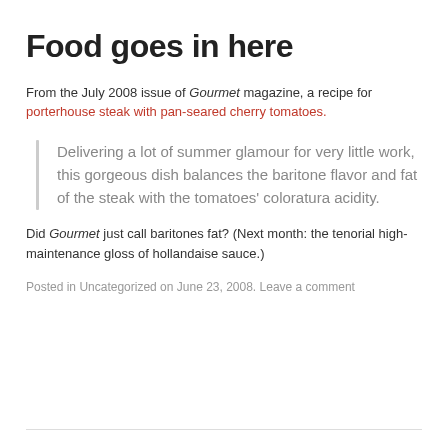Food goes in here
From the July 2008 issue of Gourmet magazine, a recipe for porterhouse steak with pan-seared cherry tomatoes.
Delivering a lot of summer glamour for very little work, this gorgeous dish balances the baritone flavor and fat of the steak with the tomatoes’ coloratura acidity.
Did Gourmet just call baritones fat? (Next month: the tenorial high-maintenance gloss of hollandaise sauce.)
Posted in Uncategorized on June 23, 2008. Leave a comment